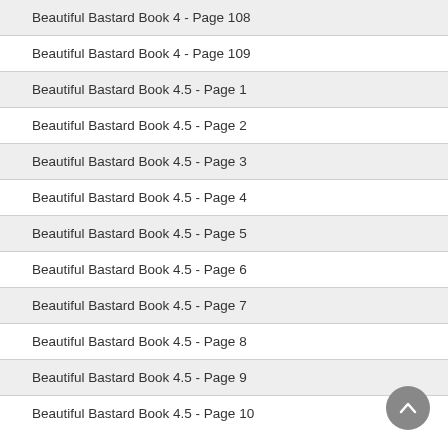Beautiful Bastard Book 4 - Page 108
Beautiful Bastard Book 4 - Page 109
Beautiful Bastard Book 4.5 - Page 1
Beautiful Bastard Book 4.5 - Page 2
Beautiful Bastard Book 4.5 - Page 3
Beautiful Bastard Book 4.5 - Page 4
Beautiful Bastard Book 4.5 - Page 5
Beautiful Bastard Book 4.5 - Page 6
Beautiful Bastard Book 4.5 - Page 7
Beautiful Bastard Book 4.5 - Page 8
Beautiful Bastard Book 4.5 - Page 9
Beautiful Bastard Book 4.5 - Page 10